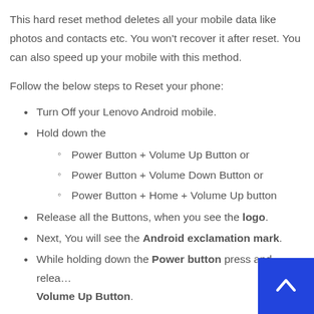This hard reset method deletes all your mobile data like photos and contacts etc. You won't recover it after reset. You can also speed up your mobile with this method.
Follow the below steps to Reset your phone:
Turn Off your Lenovo Android mobile.
Hold down the
Power Button + Volume Up Button or
Power Button + Volume Down Button or
Power Button + Home + Volume Up button
Release all the Buttons, when you see the logo.
Next, You will see the Android exclamation mark.
While holding down the Power button press and release the Volume Up Button.